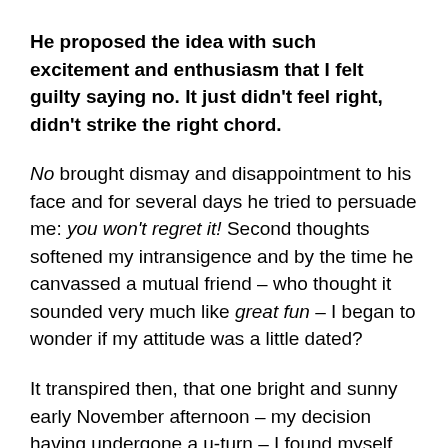He proposed the idea with such excitement and enthusiasm that I felt guilty saying no. It just didn't feel right, didn't strike the right chord.
No brought dismay and disappointment to his face and for several days he tried to persuade me: you won't regret it! Second thoughts softened my intransigence and by the time he canvassed a mutual friend – who thought it sounded very much like great fun – I began to wonder if my attitude was a little dated?
It transpired then, that one bright and sunny early November afternoon – my decision having undergone a u-turn – I found myself pillion behind a very happy man, on a highly polished 500cc Royal Enfield. We traversed suburban London into more open B roads, cruising happily